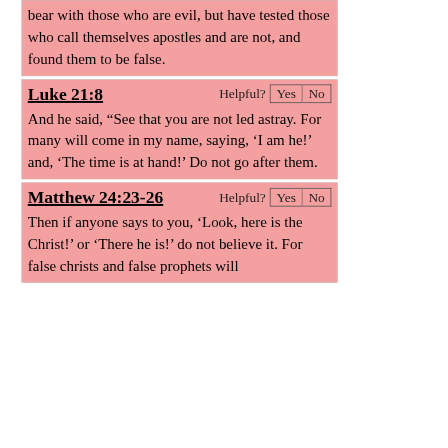bear with those who are evil, but have tested those who call themselves apostles and are not, and found them to be false.
Luke 21:8
Helpful? Yes No
And he said, “See that you are not led astray. For many will come in my name, saying, ‘I am he!’ and, ‘The time is at hand!’ Do not go after them.
Matthew 24:23-26
Helpful? Yes No
Then if anyone says to you, ‘Look, here is the Christ!’ or ‘There he is!’ do not believe it. For false christs and false prophets will